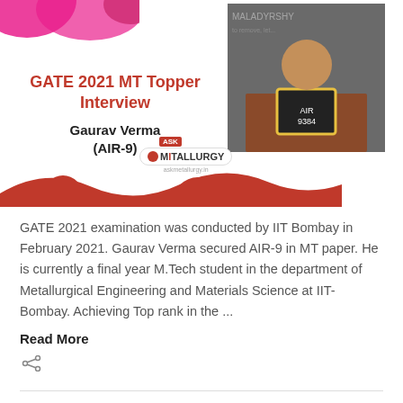[Figure (photo): GATE 2021 MT Topper Interview card with photo of Gaurav Verma holding a sign, red wave decoration, and Ask Metallurgy logo. Title reads: GATE 2021 MT Topper Interview, Gaurav Verma (AIR-9)]
GATE 2021 examination was conducted by IIT Bombay in February 2021. Gaurav Verma secured AIR-9 in MT paper. He is currently a final year M.Tech student in the department of Metallurgical Engineering and Materials Science at IIT-Bombay. Achieving Top rank in the ...
Read More
On: March 23, 2021 / Views: 1,117
GATE 2021 MT (Metallurgy) Topper Interview Nishita